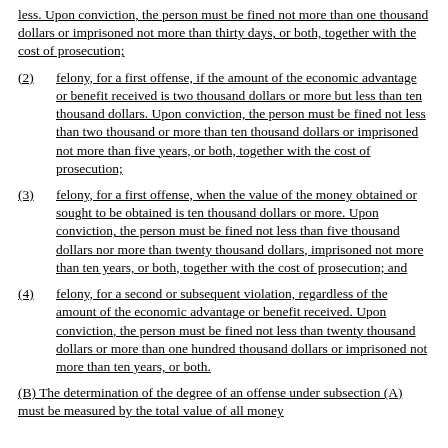less. Upon conviction, the person must be fined not more than one thousand dollars or imprisoned not more than thirty days, or both, together with the cost of prosecution;
(2)   felony, for a first offense, if the amount of the economic advantage or benefit received is two thousand dollars or more but less than ten thousand dollars. Upon conviction, the person must be fined not less than two thousand or more than ten thousand dollars or imprisoned not more than five years, or both, together with the cost of prosecution;
(3)   felony, for a first offense, when the value of the money obtained or sought to be obtained is ten thousand dollars or more. Upon conviction, the person must be fined not less than five thousand dollars nor more than twenty thousand dollars, imprisoned not more than ten years, or both, together with the cost of prosecution; and
(4)   felony, for a second or subsequent violation, regardless of the amount of the economic advantage or benefit received. Upon conviction, the person must be fined not less than twenty thousand dollars or more than one hundred thousand dollars or imprisoned not more than ten years, or both.
(B)   The determination of the degree of an offense under subsection (A) must be measured by the total value of all money